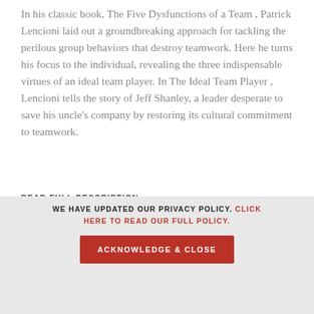In his classic book, The Five Dysfunctions of a Team , Patrick Lencioni laid out a groundbreaking approach for tackling the perilous group behaviors that destroy teamwork. Here he turns his focus to the individual, revealing the three indispensable virtues of an ideal team player. In The Ideal Team Player , Lencioni tells the story of Jeff Shanley, a leader desperate to save his uncle's company by restoring its cultural commitment to teamwork.
READ FULL DESCRIPTION
[Figure (illustration): Two partially visible red icon shapes (open book / page-turn icons) at bottom of main content area]
WE HAVE UPDATED OUR PRIVACY POLICY. CLICK HERE TO READ OUR FULL POLICY.
ACKNOWLEDGE & CLOSE